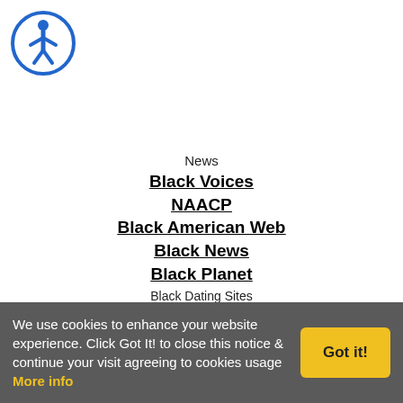[Figure (logo): Accessibility icon - blue circle with white wheelchair figure]
News
Black Voices
NAACP
Black American Web
Black News
Black Planet
Black Dating Sites
[Figure (logo): AfroDates logo - red stylized text on black background]
Afro-Dates
Black Dating Sites
Black Singles Together
Black Singles
Black Dating Connexion
We use cookies to enhance your website experience. Click Got It! to close this notice & continue your visit agreeing to cookies usage  More info